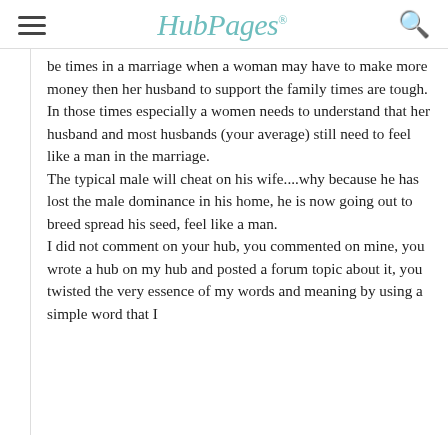HubPages
be times in a marriage when a woman may have to make more money then her husband to support the family times are tough.  In those times especially a women needs to understand that her husband and most husbands (your average) still need to feel like a man in the marriage. The typical male will cheat on his wife....why because he has lost the male dominance in his home, he is now going out to breed spread his seed, feel like a man. I did not comment on your hub, you commented on mine, you wrote a hub on my hub and posted a forum topic about it, you twisted the very essence of my words and meaning by using a simple word that I